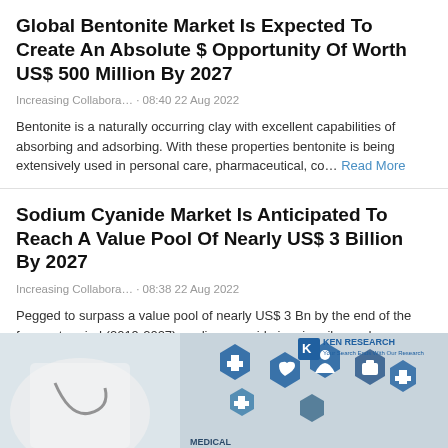Global Bentonite Market Is Expected To Create An Absolute $ Opportunity Of Worth US$ 500 Million By 2027
Increasing Collabora… · 08:40 22 Aug 2022
Bentonite is a naturally occurring clay with excellent capabilities of absorbing and adsorbing. With these properties bentonite is being extensively used in personal care, pharmaceutical, co… Read More
Sodium Cyanide Market Is Anticipated To Reach A Value Pool Of Nearly US$ 3 Billion By 2027
Increasing Collabora… · 08:38 22 Aug 2022
Pegged to surpass a value pool of nearly US$ 3 Bn by the end of the forecast period (2019-2027), sodium cyanide is primarily used as a reagent in the mining & metallurgy industry for iso… Read More
[Figure (photo): Photo of a medical professional wearing white coat with stethoscope, overlaid with blue hexagonal medical icons and Ken Research logo]